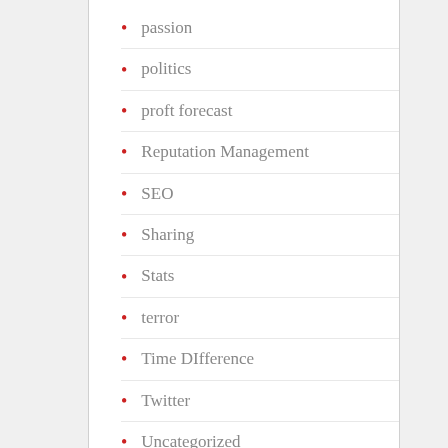passion
politics
proft forecast
Reputation Management
SEO
Sharing
Stats
terror
Time DIfference
Twitter
Uncategorized
vacation